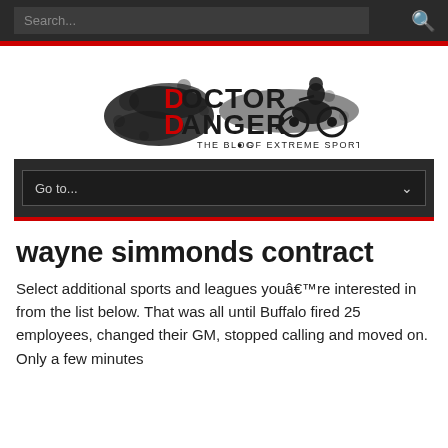Search...
[Figure (logo): Doctor Danger - The Blog of Extreme Sports logo with motorcycle rider graphic]
Go to...
wayne simmonds contract
Select additional sports and leagues youâre interested in from the list below. That was all until Buffalo fired 25 employees, changed their GM, stopped calling and moved on. Only a few minutes